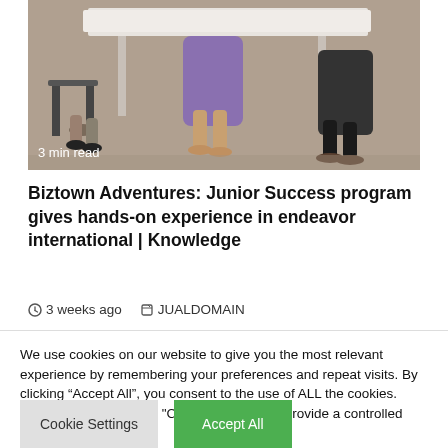[Figure (photo): Photo showing people sitting around a white folding table, legs and chairs visible, one person in a purple shirt]
3 min read
Biztown Adventures: Junior Success program gives hands-on experience in endeavor international | Knowledge
3 weeks ago  JUALDOMAIN
We use cookies on our website to give you the most relevant experience by remembering your preferences and repeat visits. By clicking "Accept All", you consent to the use of ALL the cookies. However, you may visit "Cookie Settings" to provide a controlled consent.